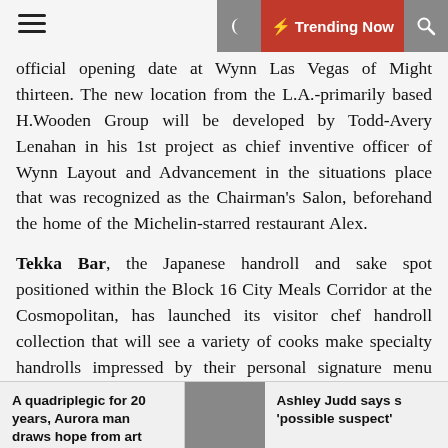Trending Now
official opening date at Wynn Las Vegas of Might thirteen. The new location from the L.A.-primarily based H.Wooden Group will be developed by Todd-Avery Lenahan in his 1st project as chief inventive officer of Wynn Layout and Advancement in the situations place that was recognized as the Chairman's Salon, beforehand the home of the Michelin-starred restaurant Alex.
Tekka Bar, the Japanese handroll and sake spot positioned within the Block 16 City Meals Corridor at the Cosmopolitan, has launched its visitor chef handroll collection that will see a variety of cooks make specialty handrolls impressed by their personal signature menu items all over the year. José Andrés kicked it off with his Jamón Roll, still readily available on February nine and once more February seventeen-23, and his Gambas Roll, with shrimp, Jaleo's brava sauce and garlic aioli, is on the menu February 10-16 and February 24 by way of March 1
A quadriplegic for 20 years, Aurora man draws hope from art
Ashley Judd says 'possible suspect'